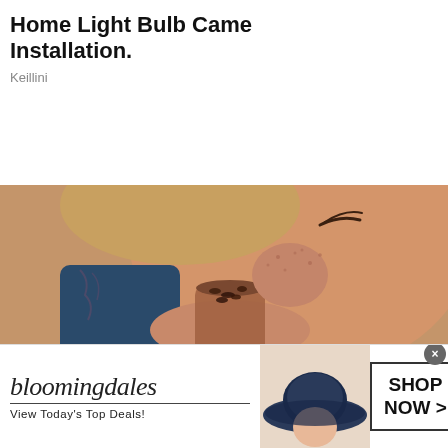Home Light Bulb Camera Installation.
Keillini
[Figure (screenshot): Dark video player UI with play button, mute button, fullscreen button, and three-dots menu. Gray progress bar at bottom.]
[Figure (photo): Close-up photo of a woman with freckles drinking from a glass containing a brown chocolate drink with cocoa nibs. She has a tattoo visible on her arm.]
Why Ka'Chava is a label–reader's dream
[Figure (infographic): Bloomingdales advertisement banner showing the Bloomingdales logo in script, 'View Today's Top Deals!' text, a woman wearing a large blue sun hat, and a 'SHOP NOW >' button.]